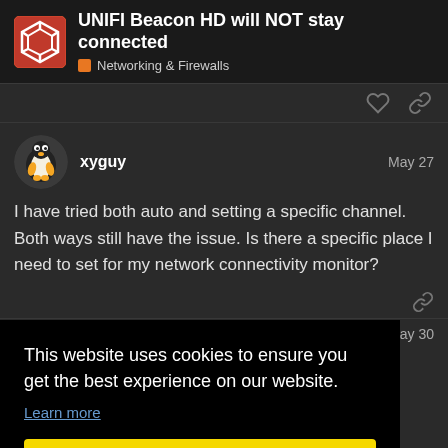UNIFI Beacon HD will NOT stay connected — Networking & Firewalls
xyguy    May 27
I have tried both auto and setting a specific channel. Both ways still have the issue. Is there a specific place I need to set for my network connectivity monitor?
May 30
ne. I n't know
Have you tried resetting it to factory and or have had success with that in the past wh
This website uses cookies to ensure you get the best experience on our website.
Learn more
Got it!